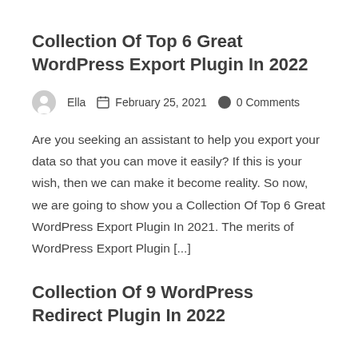Collection Of Top 6 Great WordPress Export Plugin In 2022
Ella   February 25, 2021   0 Comments
Are you seeking an assistant to help you export your data so that you can move it easily? If this is your wish, then we can make it become reality. So now, we are going to show you a Collection Of Top 6 Great WordPress Export Plugin In 2021. The merits of WordPress Export Plugin [...]
Collection Of 9 WordPress Redirect Plugin In 2022